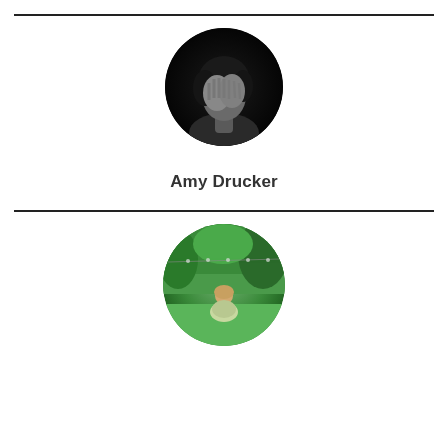[Figure (photo): Circular profile photo of a person with dark background, hands covering face, black and white image]
Amy Drucker
[Figure (photo): Circular profile photo of a person sitting in a green outdoor garden/nature setting]